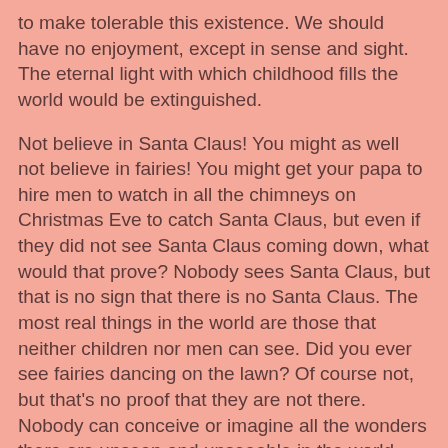to make tolerable this existence. We should have no enjoyment, except in sense and sight. The eternal light with which childhood fills the world would be extinguished.
Not believe in Santa Claus! You might as well not believe in fairies! You might get your papa to hire men to watch in all the chimneys on Christmas Eve to catch Santa Claus, but even if they did not see Santa Claus coming down, what would that prove? Nobody sees Santa Claus, but that is no sign that there is no Santa Claus. The most real things in the world are those that neither children nor men can see. Did you ever see fairies dancing on the lawn? Of course not, but that's no proof that they are not there. Nobody can conceive or imagine all the wonders there are unseen and unseeable in the world.
You may tear apart the baby's rattle and see what makes the noise inside, but there is a veil covering the unseen world which not the strongest man, nor even the united strength of all the strongest men that ever lived, could tear apart. Only faith, fancy, poetry, love, romance, can push aside that curtain and view and picture the supernal beauty and glory beyond. Is it all real? Ah, VIRGINIA, in all this world there is nothing else real and abiding.